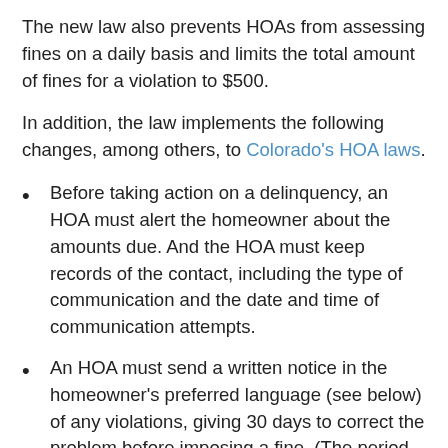The new law also prevents HOAs from assessing fines on a daily basis and limits the total amount of fines for a violation to $500.
In addition, the law implements the following changes, among others, to Colorado's HOA laws.
Before taking action on a delinquency, an HOA must alert the homeowner about the amounts due. And the HOA must keep records of the contact, including the type of communication and the date and time of communication attempts.
An HOA must send a written notice in the homeowner's preferred language (see below) of any violations, giving 30 days to correct the problem before imposing a fine. (The period to fix a violation is 72 hours if it threatens the public